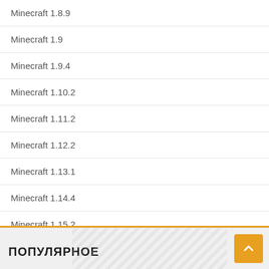Minecraft 1.8.9
Minecraft 1.9
Minecraft 1.9.4
Minecraft 1.10.2
Minecraft 1.11.2
Minecraft 1.12.2
Minecraft 1.13.1
Minecraft 1.14.4
Minecraft 1.15.2
Forge для Minecraft
Fabric для Minecraft
OptiFine HD для Minecraft
ПОПУЛЯРНОЕ